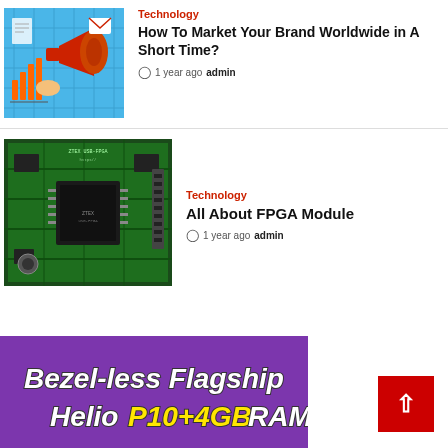[Figure (illustration): Blue marketing illustration with megaphone, charts, email icons]
Technology
How To Market Your Brand Worldwide in A Short Time?
1 year ago  admin
[Figure (photo): Green FPGA circuit board photo (ZTEX USB-FPGA)]
Technology
All About FPGA Module
1 year ago  admin
[Figure (illustration): Ad banner: Bezel-less Flagship Helio P10+4GB RAM text on purple/grey background]
[Figure (other): Red back-to-top button with upward arrow]